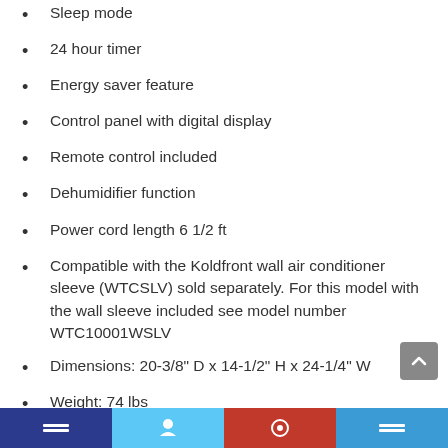Sleep mode
24 hour timer
Energy saver feature
Control panel with digital display
Remote control included
Dehumidifier function
Power cord length 6 1/2 ft
Compatible with the Koldfront wall air conditioner sleeve (WTCSLV) sold separately. For this model with the wall sleeve included see model number WTC10001WSLV
Dimensions: 20-3/8" D x 14-1/2" H x 24-1/4" W
Weight: 74 lbs